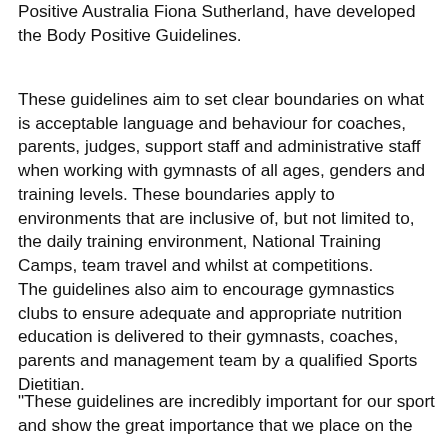Positive Australia Fiona Sutherland, have developed the Body Positive Guidelines.
These guidelines aim to set clear boundaries on what is acceptable language and behaviour for coaches, parents, judges, support staff and administrative staff when working with gymnasts of all ages, genders and training levels. These boundaries apply to environments that are inclusive of, but not limited to, the daily training environment, National Training Camps, team travel and whilst at competitions.
The guidelines also aim to encourage gymnastics clubs to ensure adequate and appropriate nutrition education is delivered to their gymnasts, coaches, parents and management team by a qualified Sports Dietitian.
"These guidelines are incredibly important for our sport and show the great importance that we place on the